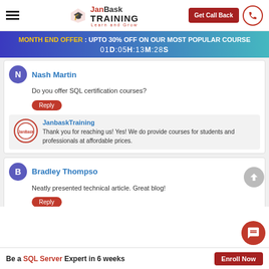[Figure (logo): JanBask Training logo with hamburger menu and Get Call Back button]
MONTH END OFFER : UPTO 30% OFF ON OUR MOST POPULAR COURSE
01D:05H:13M:28S
Nash Martin
Do you offer SQL certification courses?
Reply
JanbaskTraining
Thank you for reaching us! Yes! We do provide courses for students and professionals at affordable prices.
Bradley Thompso
Neatly presented technical article. Great blog!
Reply
Be a SQL Server Expert in 6 weeks
Enroll Now